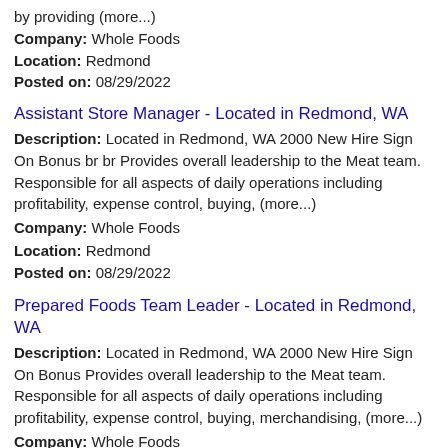by providing (more...)
Company: Whole Foods
Location: Redmond
Posted on: 08/29/2022
Assistant Store Manager - Located in Redmond, WA
Description: Located in Redmond, WA 2000 New Hire Sign On Bonus br br Provides overall leadership to the Meat team. Responsible for all aspects of daily operations including profitability, expense control, buying, (more...)
Company: Whole Foods
Location: Redmond
Posted on: 08/29/2022
Prepared Foods Team Leader - Located in Redmond, WA
Description: Located in Redmond, WA 2000 New Hire Sign On Bonus Provides overall leadership to the Meat team. Responsible for all aspects of daily operations including profitability, expense control, buying, merchandising, (more...)
Company: Whole Foods
Location: Redmond
Posted on: 08/29/2022